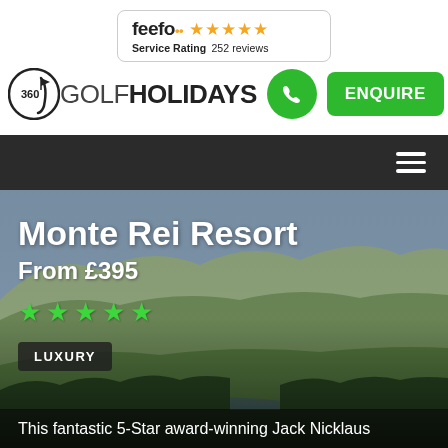[Figure (logo): Feefo service rating badge with 5 gold stars and '252 reviews']
[Figure (logo): 360 Golf Holidays logo with phone button and green ENQUIRE button]
[Figure (screenshot): Navigation bar with hamburger menu icon on dark background]
Monte Rei Resort
From £395
[Figure (illustration): 5 green stars rating]
LUXURY
This fantastic 5-Star award-winning Jack Nicklaus